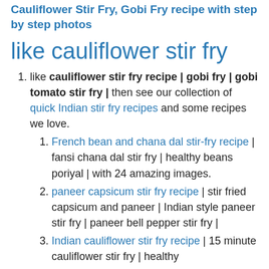Cauliflower Stir Fry, Gobi Fry recipe with step by step photos
like cauliflower stir fry
like cauliflower stir fry recipe | gobi fry | gobi tomato stir fry | then see our collection of quick Indian stir fry recipes and some recipes we love.
French bean and chana dal stir-fry recipe | fansi chana dal stir fry | healthy beans poriyal | with 24 amazing images.
paneer capsicum stir fry recipe | stir fried capsicum and paneer | Indian style paneer stir fry | paneer bell pepper stir fry |
Indian cauliflower stir fry recipe | 15 minute cauliflower stir fry | healthy